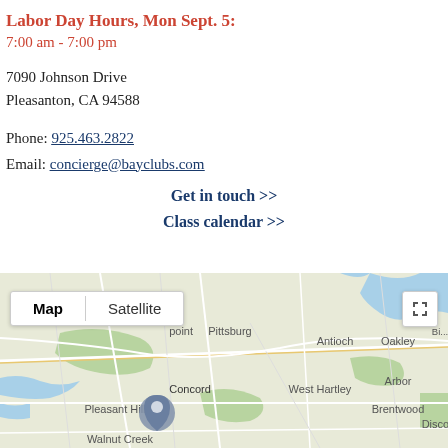Labor Day Hours, Mon Sept. 5:
7:00 am - 7:00 pm
7090 Johnson Drive
Pleasanton, CA 94588
Phone: 925.463.2822
Email: concierge@bayclubs.com
Get in touch >>
Class calendar >>
[Figure (map): Google Map showing the Bay Area including Concord, Pleasant Hill, Walnut Creek, Antioch, Oakley, West Hartley, Brentwood, Pittsburg, and surrounding areas with a location pin near Concord. Map/Satellite toggle buttons visible at top left.]